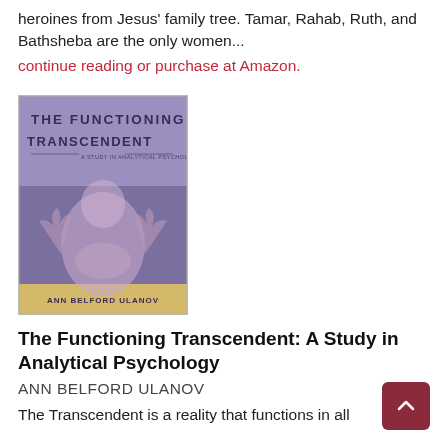heroines from Jesus' family tree. Tamar, Rahab, Ruth, and Bathsheba are the only women...
continue reading or purchase at Amazon.
[Figure (photo): Book cover of 'The Functioning Transcendent: A Study in Analytical Psychology' by Ann Belford Ulanov. Purple/lavender cover with abstract figure illustration and golden title text.]
The Functioning Transcendent: A Study in Analytical Psychology
ANN BELFORD ULANOV
The Transcendent is a reality that functions in all